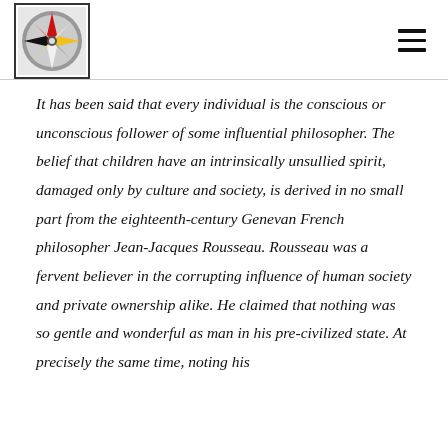[Figure (logo): Compass-style logo with geometric colored segments (red, yellow, white, black) inside a grey circular border, within a black-bordered square box.]
It has been said that every individual is the conscious or unconscious follower of some influential philosopher. The belief that children have an intrinsically unsullied spirit, damaged only by culture and society, is derived in no small part from the eighteenth-century Genevan French philosopher Jean-Jacques Rousseau. Rousseau was a fervent believer in the corrupting influence of human society and private ownership alike. He claimed that nothing was so gentle and wonderful as man in his pre-civilized state. At precisely the same time, noting his